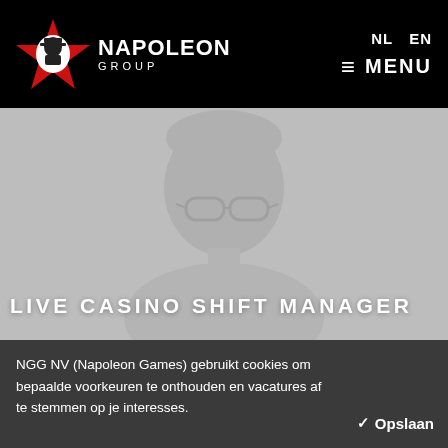[Figure (logo): Napoleon Group logo: red star with Napoleon figure, white text NAPOLEON GROUP on black header bar]
NL  EN  ☰ MENU
[Figure (photo): Hero image: greyscale/faded photo of a person wearing glasses, grey background]
LIVE CASINO SHIFT MANAGER
NGG NV (Napoleon Games) gebruikt cookies om bepaalde voorkeuren te onthouden en vacatures af te stemmen op je interesses.
✔ Opslaan